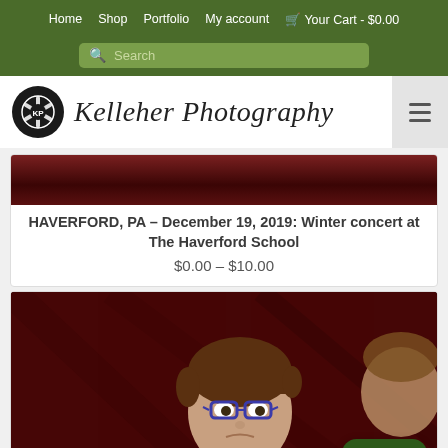Home  Shop  Portfolio  My account  🛒 Your Cart - $0.00
Search
[Figure (logo): Kelleher Photography logo with camera aperture icon and cursive text]
[Figure (photo): Dark red stage/curtain background image strip]
HAVERFORD, PA – December 19, 2019: Winter concert at The Haverford School
$0.00 – $10.00
[Figure (photo): Photo of a young boy with glasses and brown hair playing an instrument at a concert, dark red/maroon background]